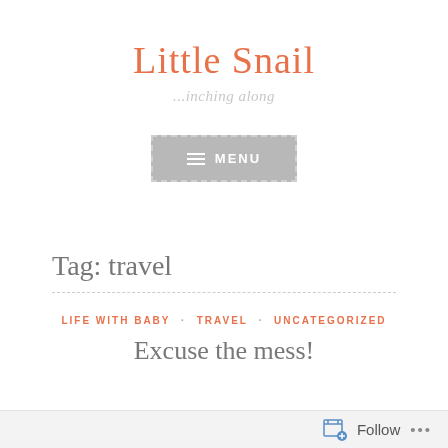Little Snail
...inching along
[Figure (other): Gray menu button with dashed border, hamburger icon, and text 'MENU' in white letters]
Tag: travel
LIFE WITH BABY · TRAVEL · UNCATEGORIZED
Excuse the mess!
Follow ...